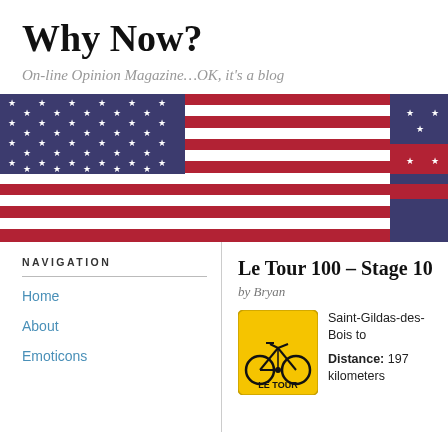Why Now?
On-line Opinion Magazine…OK, it's a blog
[Figure (illustration): US flag banner image spanning the full width of the page, showing stars and stripes with another flag partially visible on the right side]
NAVIGATION
Home
About
Emoticons
Le Tour 100 – Stage 10
by Bryan
[Figure (illustration): Le Tour de France bicycle logo on a yellow square background]
Saint-Gildas-des-Bois to
Distance: 197 kilometers